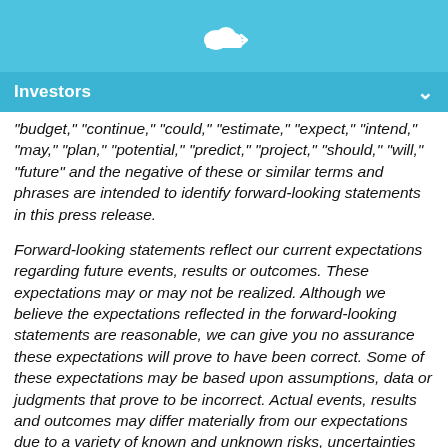Investors
"budget," "continue," "could," "estimate," "expect," "intend," "may," "plan," "potential," "predict," "project," "should," "will," "future" and the negative of these or similar terms and phrases are intended to identify forward-looking statements in this press release.
Forward-looking statements reflect our current expectations regarding future events, results or outcomes. These expectations may or may not be realized. Although we believe the expectations reflected in the forward-looking statements are reasonable, we can give you no assurance these expectations will prove to have been correct. Some of these expectations may be based upon assumptions, data or judgments that prove to be incorrect. Actual events, results and outcomes may differ materially from our expectations due to a variety of known and unknown risks, uncertainties and other factors. Although it is not possible to identify all of these risks and factors, they include, among others: